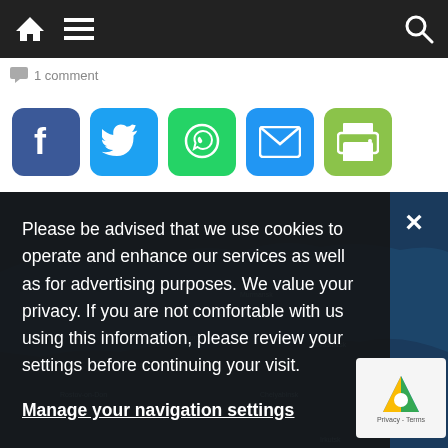Navigation bar with home, menu, and search icons
1 comment
[Figure (screenshot): Row of social share buttons: Facebook (blue), Twitter (light blue), WhatsApp (green), Email (blue), Print (olive green)]
[Figure (map): Dark blue world map background showing Russia and surrounding regions]
Please be advised that we use cookies to operate and enhance our services as well as for advertising purposes. We value your privacy. If you are not comfortable with us using this information, please review your settings before continuing your visit.
Manage your navigation settings
Find out more